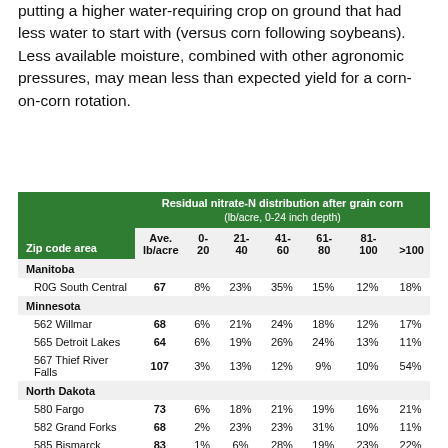putting a higher water-requiring crop on ground that had less water to start with (versus corn following soybeans). Less available moisture, combined with other agronomic pressures, may mean less than expected yield for a corn-on-corn rotation.
| Zip code area | Ave. lb/acre | 0-20 | 21-40 | 41-60 | 61-80 | 81-100 | >100 |
| --- | --- | --- | --- | --- | --- | --- | --- |
| Manitoba |  |  |  |  |  |  |  |
| R0G South Central | 67 | 8% | 23% | 35% | 15% | 12% | 18% |
| Minnesota |  |  |  |  |  |  |  |
| 562 Willmar | 68 | 6% | 21% | 24% | 18% | 12% | 17% |
| 565 Detroit Lakes | 64 | 6% | 19% | 26% | 24% | 13% | 11% |
| 567 Thief River Falls | 107 | 3% | 13% | 12% | 9% | 10% | 54% |
| North Dakota |  |  |  |  |  |  |  |
| 580 Fargo | 73 | 6% | 18% | 21% | 19% | 16% | 21% |
| 582 Grand Forks | 68 | 2% | 23% | 23% | 31% | 10% | 11% |
| 585 Bismarck | 83 | 1% | 6% | 28% | 19% | 23% | 22% |
| South Dakota |  |  |  |  |  |  |  |